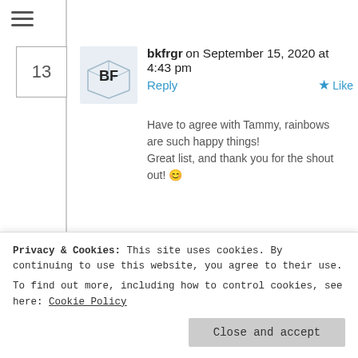13 — bkfrgr on September 15, 2020 at 4:43 pm | Reply | Like
Have to agree with Tammy, rainbows are such happy things!
Great list, and thank you for the shout out! 😊
14 — imyril @ There's Always Room For One More on September 15, 2020 at 8:08… Liked by 1 person
15 — Fran Laniado- Author on September…
Privacy & Cookies: This site uses cookies. By continuing to use this website, you agree to their use.
To find out more, including how to control cookies, see here: Cookie Policy
Close and accept